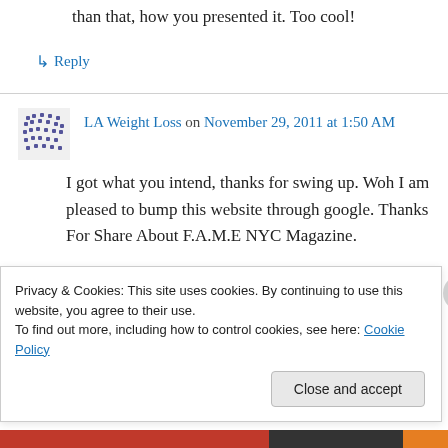than that, how you presented it. Too cool!
↳ Reply
LA Weight Loss on November 29, 2011 at 1:50 AM
I got what you intend, thanks for swing up. Woh I am pleased to bump this website through google. Thanks For Share About F.A.M.E NYC Magazine.
Privacy & Cookies: This site uses cookies. By continuing to use this website, you agree to their use.
To find out more, including how to control cookies, see here: Cookie Policy
Close and accept